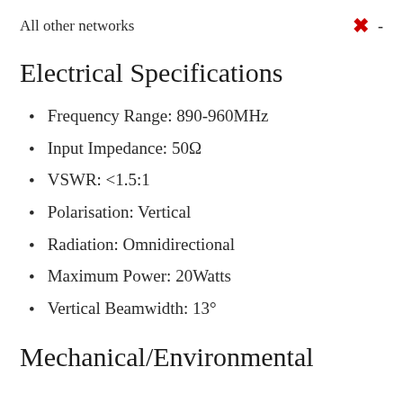All other networks
Electrical Specifications
Frequency Range: 890-960MHz
Input Impedance: 50Ω
VSWR: <1.5:1
Polarisation: Vertical
Radiation: Omnidirectional
Maximum Power: 20Watts
Vertical Beamwidth: 13°
Mechanical/Environmental